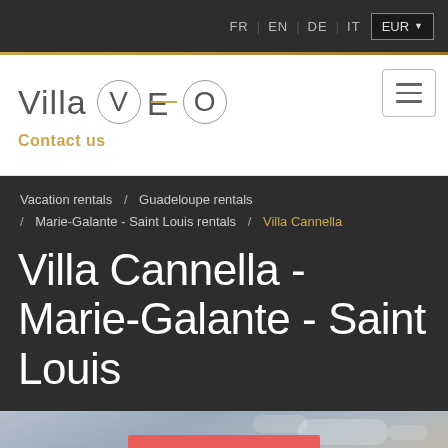FR | EN | DE | IT  EUR
[Figure (logo): Villa VEO logo with Contact us link and hamburger menu button]
Vacation rentals / Guadeloupe rentals / Marie-Galante - Saint Louis rentals / Villa Cannella
Villa Cannella - Marie-Galante - Saint Louis
[Figure (photo): Outdoor photo with sky background showing a building with red roof and trees. Contains a red Check availability button and Information about Covid-19 banner.]
Check availability
Information about Covid-19